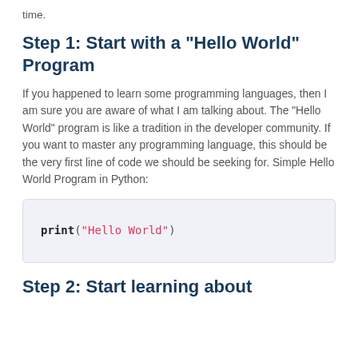time.
Step 1: Start with a “Hello World” Program
If you happened to learn some programming languages, then I am sure you are aware of what I am talking about. The “Hello World” program is like a tradition in the developer community. If you want to master any programming language, this should be the very first line of code we should be seeking for. Simple Hello World Program in Python:
[Figure (screenshot): Code block showing: print("Hello World")]
Step 2: Start learning about